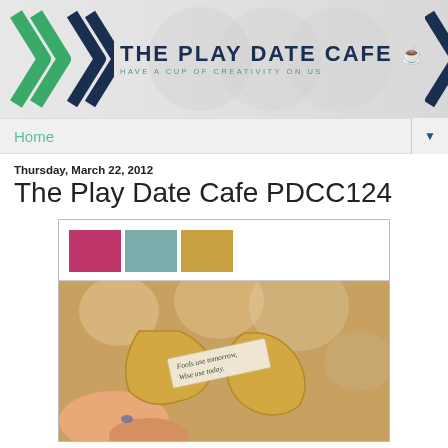[Figure (logo): The Play Date Cafe banner with green and navy chevrons, title text 'THE PLAY DATE CAFE' and subtitle 'HAVE A CUP OF CREATIVITY ON US' with coffee cup icon]
Home
Thursday, March 22, 2012
The Play Date Cafe PDCC124
[Figure (photo): Color palette swatches (magenta, teal, gold) above a photo of a fortune cookie being opened, with a paper fortune reading 'Fools use tomorrow, Wise use today.']